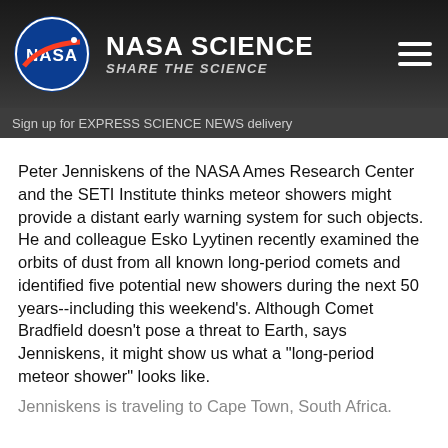NASA SCIENCE SHARE THE SCIENCE
Sign up for EXPRESS SCIENCE NEWS delivery
Peter Jenniskens of the NASA Ames Research Center and the SETI Institute thinks meteor showers might provide a distant early warning system for such objects. He and colleague Esko Lyytinen recently examined the orbits of dust from all known long-period comets and identified five potential new showers during the next 50 years--including this weekend's. Although Comet Bradfield doesn't pose a threat to Earth, says Jenniskens, it might show us what a "long-period meteor shower" looks like.
Jenniskens is traveling to Cape Town, South Africa. "I'll try to observe this outburst with the help of members of the Astronomical Society of South Africa, led by Tim Cooper," he says. Even at the